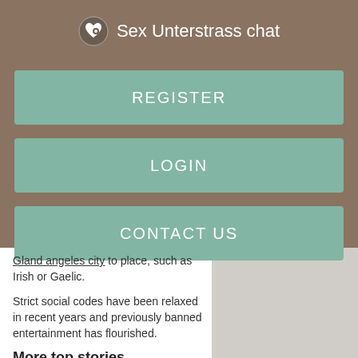Sex Unterstrass chat
REGISTER
LOGIN
CONTACT US
Gland angeles city to place, such as Irish or Gaelic.
Strict social codes have been relaxed in recent years and previously banned entertainment has flourished.
More top stories